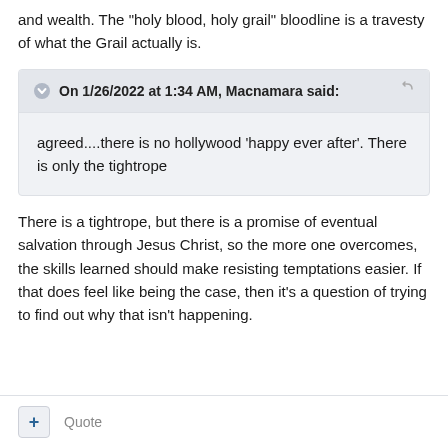and wealth. The "holy blood, holy grail" bloodline is a travesty of what the Grail actually is.
On 1/26/2022 at 1:34 AM, Macnamara said: agreed....there is no hollywood 'happy ever after'. There is only the tightrope
There is a tightrope, but there is a promise of eventual salvation through Jesus Christ, so the more one overcomes, the skills learned should make resisting temptations easier. If that does feel like being the case, then it's a question of trying to find out why that isn't happening.